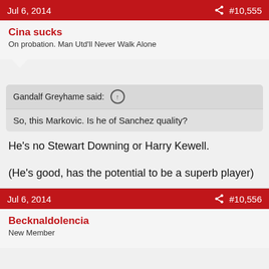Jul 6, 2014  #10,555
Cina sucks
On probation. Man Utd'll Never Walk Alone
Gandalf Greyhame said: ↑
So, this Markovic. Is he of Sanchez quality?
He's no Stewart Downing or Harry Kewell.

(He's good, has the potential to be a superb player)
Jul 6, 2014  #10,556
Becknaldolencia
New Member